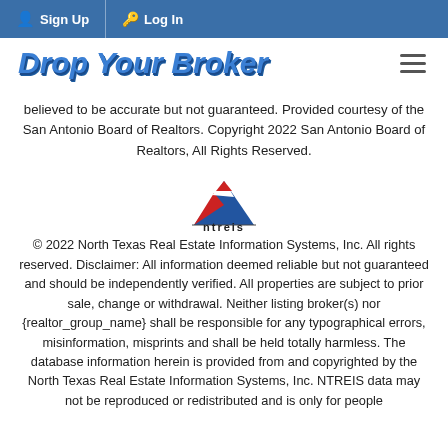Sign Up  Log In
Drop Your Broker
believed to be accurate but not guaranteed. Provided courtesy of the San Antonio Board of Realtors. Copyright 2022 San Antonio Board of Realtors, All Rights Reserved.
[Figure (logo): NTREIS logo — stylized stacked triangles in red, white, and blue, with 'ntreis' text below]
© 2022 North Texas Real Estate Information Systems, Inc. All rights reserved. Disclaimer: All information deemed reliable but not guaranteed and should be independently verified. All properties are subject to prior sale, change or withdrawal. Neither listing broker(s) nor {realtor_group_name} shall be responsible for any typographical errors, misinformation, misprints and shall be held totally harmless. The database information herein is provided from and copyrighted by the North Texas Real Estate Information Systems, Inc. NTREIS data may not be reproduced or redistributed and is only for people